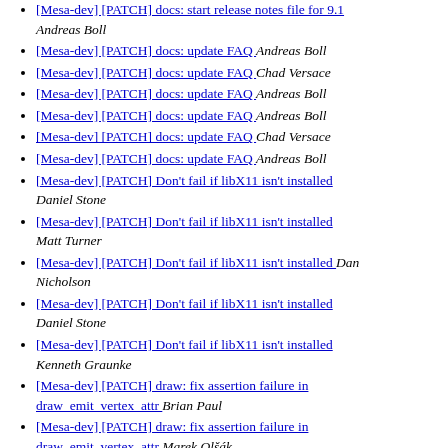[Mesa-dev] [PATCH] docs: start release notes file for 9.1  Andreas Boll
[Mesa-dev] [PATCH] docs: update FAQ  Andreas Boll
[Mesa-dev] [PATCH] docs: update FAQ  Chad Versace
[Mesa-dev] [PATCH] docs: update FAQ  Andreas Boll
[Mesa-dev] [PATCH] docs: update FAQ  Andreas Boll
[Mesa-dev] [PATCH] docs: update FAQ  Chad Versace
[Mesa-dev] [PATCH] docs: update FAQ  Andreas Boll
[Mesa-dev] [PATCH] Don't fail if libX11 isn't installed  Daniel Stone
[Mesa-dev] [PATCH] Don't fail if libX11 isn't installed  Matt Turner
[Mesa-dev] [PATCH] Don't fail if libX11 isn't installed  Dan Nicholson
[Mesa-dev] [PATCH] Don't fail if libX11 isn't installed  Daniel Stone
[Mesa-dev] [PATCH] Don't fail if libX11 isn't installed  Kenneth Graunke
[Mesa-dev] [PATCH] draw: fix assertion failure in draw_emit_vertex_attr  Brian Paul
[Mesa-dev] [PATCH] draw: fix assertion failure in draw_emit_vertex_attr  Marek Olšák
[Mesa-dev] [PATCH] draw: fix assertion failure in draw_emit_vertex_attr  Andreas Boll
[Mesa-dev] [PATCH] draw: fix assertion failure in